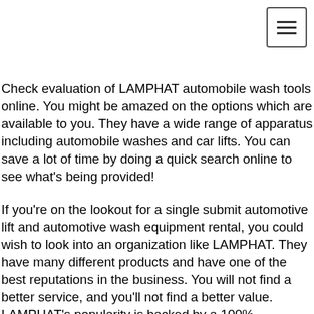[hamburger menu icon]
Check evaluation of LAMPHAT automobile wash tools online. You might be amazed on the options which are available to you. They have a wide range of apparatus including automobile washes and car lifts. You can save a lot of time by doing a quick search online to see what's being provided!
If you're on the lookout for a single submit automotive lift and automotive wash equipment rental, you could wish to look into an organization like LAMPHAT. They have many different products and have one of the best reputations in the business. You will not find a better service, and you'll not find a better value. LAMPHAT's popularity is backed by a 100% satisfaction assure!
Car wash tools rental is a good choice when you're on a finances. When you rent, you can often get the tools on the same day, or even the following day. No need to worry about having to wait for delivery. You can check out completely different combos and resolve whether or not it'll work for your small business model. Many of the companies may also provide you with warranties on the equipment, and most will even